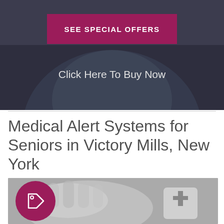[Figure (photo): Top banner area: photo of elderly person in light blue shirt with dark overlay background]
SEE SPECIAL OFFERS
Click Here To Buy Now
Medical Alert Systems for Seniors in Victory Mills, New York
[Figure (photo): Black and white photo of elderly hand holding a medical alert device with a cross symbol, with a purple price tag icon overlay]